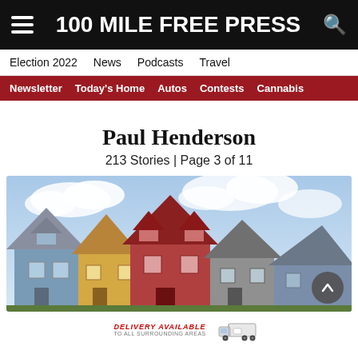100 MILE FREE PRESS
Election 2022  News  Podcasts  Travel
Newsletter  Today's Home  Autos  Contests  Cannabis
Paul Henderson
213 Stories | Page 3 of 11
[Figure (photo): Colorful residential rooftops with gabled peaks against a cloudy blue sky — row of houses in blue, yellow, red and grey tones.]
[Figure (infographic): Ad banner: DELIVERY AVAILABLE TO ALL SURROUNDING AREAS with a truck icon]